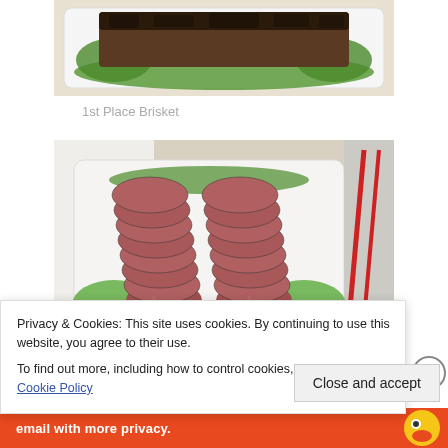[Figure (photo): Photo of 1st place brisket on a white tray with green lettuce garnish, dark bark visible on top]
1st Place Brisket
[Figure (photo): Photo of sliced sausage arranged in two rows on a white tray with green lettuce garnish]
Privacy & Cookies: This site uses cookies. By continuing to use this website, you agree to their use.
To find out more, including how to control cookies, see here: Cookie Policy
Close and accept
[Figure (other): Advertisement bar with red background, text 'email with more privacy.' and a duck logo]